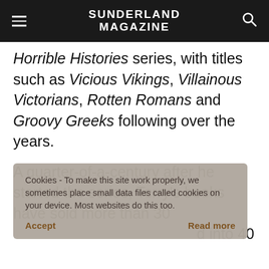SUNDERLAND MAGAZINE
Horrible Histories series, with titles such as Vicious Vikings, Villainous Victorians, Rotten Romans and Groovy Greeks following over the years.
A quarter-of-a-century after he started the series, Terry's books have sold more than 30 [million copies, been translated] into 40 [languages…]
Cookies - To make this site work properly, we sometimes place small data files called cookies on your device. Most websites do this too.
[…Gordon] in Brown, Terry has livened up history learning for a